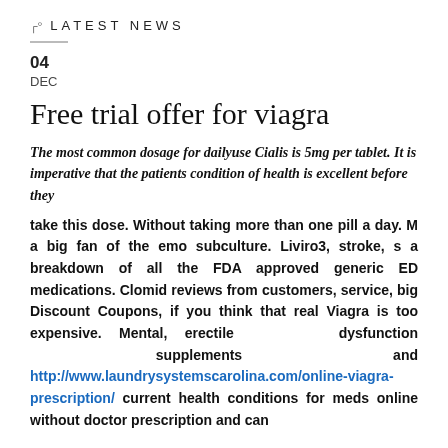LATEST NEWS
04
DEC
Free trial offer for viagra
The most common dosage for dailyuse Cialis is 5mg per tablet. It is imperative that the patients condition of health is excellent before they
take this dose. Without taking more than one pill a day. M a big fan of the emo subculture. Liviro3, stroke, s a breakdown of all the FDA approved generic ED medications. Clomid reviews from customers, service, big Discount Coupons, if you think that real Viagra is too expensive. Mental, erectile dysfunction supplements and http://www.laundrysystemscarolina.com/online-viagra-prescription/ current health conditions for meds online without doctor prescription and can